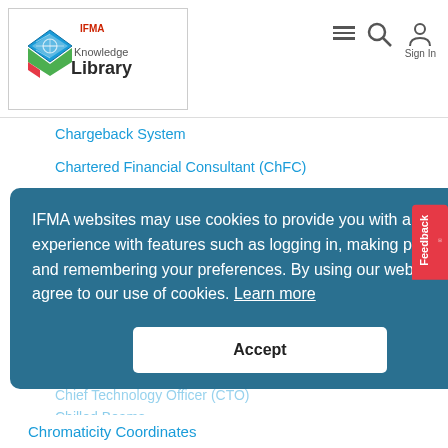IFMA Knowledge Library
Chargeback System
Chartered Financial Consultant (ChFC)
Chartered Life Underwriter (CLU)
Chartered Property Casualty Underwriter (CPCU)
Checklists
Chemical Minimization
Chemical Oxygen Demand (COD)
Chief Information Officer (CIO)
Chief Knowledge Officer (CKO)
Chief Technology Officer (CTO)
Chilled Beams
Chlorofluorocarbons (CFCs)
Chromaticity
Chromaticity Coordinates
IFMA websites may use cookies to provide you with a better experience with features such as logging in, making purchases and remembering your preferences. By using our websites, you agree to our use of cookies. Learn more
Accept